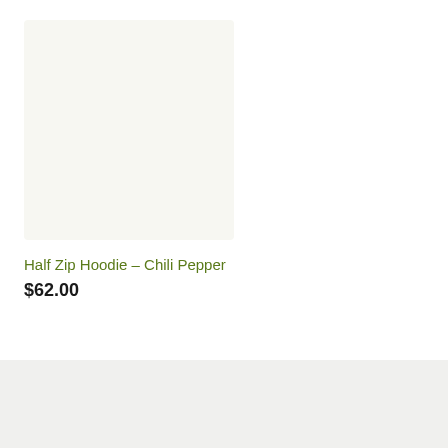[Figure (photo): Product image placeholder — a light beige/off-white rectangle representing a Half Zip Hoodie in Chili Pepper color]
Half Zip Hoodie – Chili Pepper
$62.00
[Figure (illustration): Green circular button with a white gift box icon]